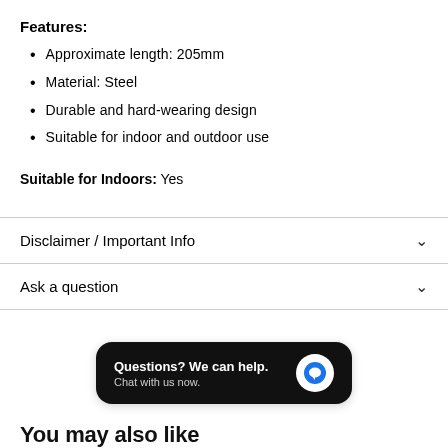Features:
Approximate length: 205mm
Material: Steel
Durable and hard-wearing design
Suitable for indoor and outdoor use
Suitable for Indoors: Yes
Disclaimer / Important Info
Ask a question
Questions? We can help. Chat with us now.
You may also like